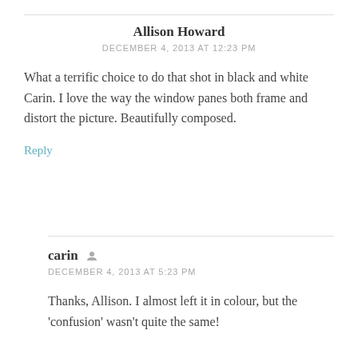Allison Howard
DECEMBER 4, 2013 AT 12:23 PM
What a terrific choice to do that shot in black and white Carin. I love the way the window panes both frame and distort the picture. Beautifully composed.
Reply
carin
DECEMBER 4, 2013 AT 5:23 PM
Thanks, Allison. I almost left it in colour, but the 'confusion' wasn't quite the same!